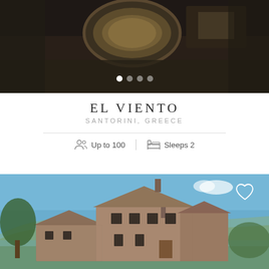[Figure (photo): Aerial/overhead night view of a Mediterranean property with a circular pool illuminated with warm lights, dark stone courtyard]
EL VIENTO
SANTORINI, GREECE
Up to 100  |  Sleeps 2
[Figure (photo): Exterior daytime photo of a large rustic stone farmhouse/villa with terracotta roof tiles under a bright blue sky, surrounded by Mediterranean landscape and trees]